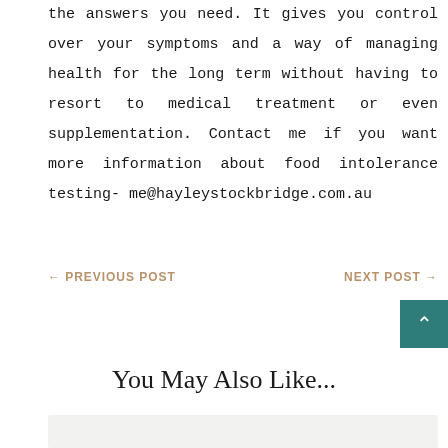the answers you need. It gives you control over your symptoms and a way of managing health for the long term without having to resort to medical treatment or even supplementation. Contact me if you want more information about food intolerance testing- me@hayleystockbridge.com.au
← PREVIOUS POST    NEXT POST →
You May Also Like...